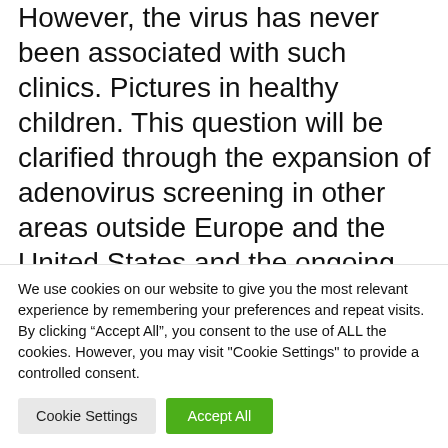However, the virus has never been associated with such clinics. Pictures in healthy children. This question will be clarified through the expansion of adenovirus screening in other areas outside Europe and the United States and the ongoing UKHSA (United Kingdom Health Security Agency) results communication.
For adeno-related viruses (or AAVs)
We use cookies on our website to give you the most relevant experience by remembering your preferences and repeat visits. By clicking “Accept All”, you consent to the use of ALL the cookies. However, you may visit "Cookie Settings" to provide a controlled consent.